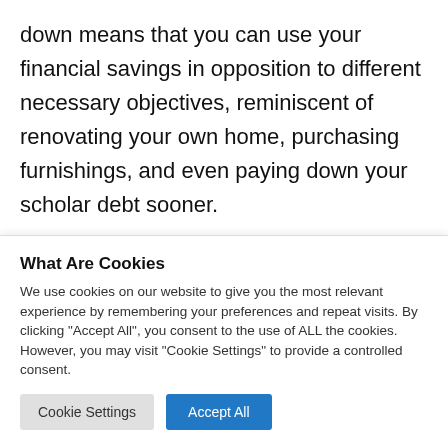down means that you can use your financial savings in opposition to different necessary objectives, reminiscent of renovating your own home, purchasing furnishings, and even paying down your scholar debt sooner.
You'll be able to get started the quote procedure with the phone under or stay studying
What Are Cookies
We use cookies on our website to give you the most relevant experience by remembering your preferences and repeat visits. By clicking "Accept All", you consent to the use of ALL the cookies. However, you may visit "Cookie Settings" to provide a controlled consent.
Cookie Settings | Accept All